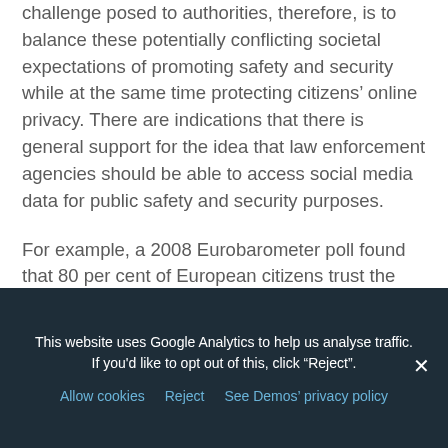challenge posed to authorities, therefore, is to balance these potentially conflicting societal expectations of promoting safety and security while at the same time protecting citizens' online privacy. There are indications that there is general support for the idea that law enforcement agencies should be able to access social media data for public safety and security purposes.
For example, a 2008 Eurobarometer poll found that 80 per cent of European citizens trust the use of citizens' personal information in a proper way by police, while the same survey found that a majority supported the monitoring of internet activity to protect society against terrorism.
This website uses Google Analytics to help us analyse traffic. If you'd like to opt out of this, click "Reject".
Allow cookies  Reject  See Demos' privacy policy